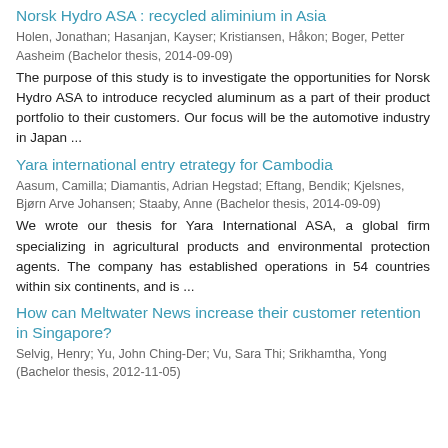Norsk Hydro ASA : recycled aliminium in Asia
Holen, Jonathan; Hasanjan, Kayser; Kristiansen, Håkon; Boger, Petter Aasheim (Bachelor thesis, 2014-09-09)
The purpose of this study is to investigate the opportunities for Norsk Hydro ASA to introduce recycled aluminum as a part of their product portfolio to their customers. Our focus will be the automotive industry in Japan ...
Yara international entry etrategy for Cambodia
Aasum, Camilla; Diamantis, Adrian Hegstad; Eftang, Bendik; Kjelsnes, Bjørn Arve Johansen; Staaby, Anne (Bachelor thesis, 2014-09-09)
We wrote our thesis for Yara International ASA, a global firm specializing in agricultural products and environmental protection agents. The company has established operations in 54 countries within six continents, and is ...
How can Meltwater News increase their customer retention in Singapore?
Selvig, Henry; Yu, John Ching-Der; Vu, Sara Thi; Srikhamtha, Yong (Bachelor thesis, 2012-11-05)